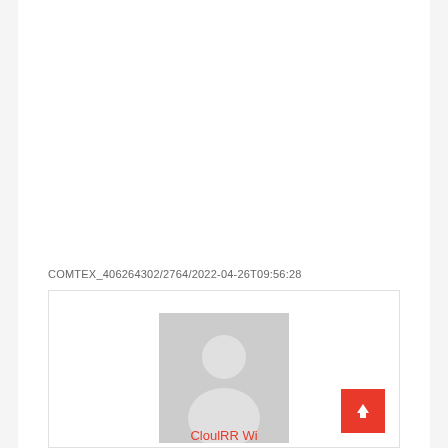COMTEX_406264302/2764/2022-04-26T09:56:28
[Figure (photo): Generic user profile placeholder image showing a grey silhouette of a person on a grey background]
Clou...RR Wi...